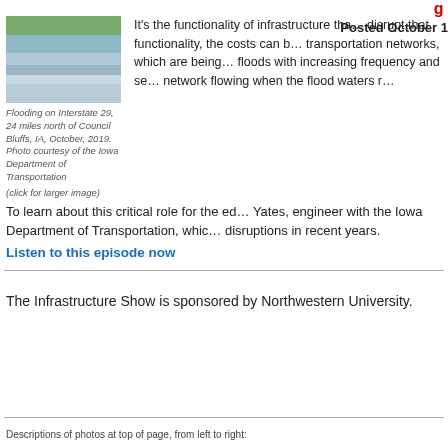[Figure (photo): Aerial photo of flooding on Interstate 29, 24 miles north of Council Bluffs, IA, October 2019]
Flooding on Interstate 29, 24 miles north of Council Bluffs, IA, October, 2019. Photo courtesy of the Iowa Department of Transportation
(click for larger image)
Posted October 1
It's the functionality of infrastructure that... disrupt that functionality, the costs can b... transportation networks, which are being... floods with increasing frequency and se... network flowing when the flood waters r...
To learn about this critical role for the ed... Yates, engineer with the Iowa Department of Transportation, which... disruptions in recent years.
Listen to this episode now
The Infrastructure Show is sponsored by Northwestern University.
Descriptions of photos at top of page, from left to right: